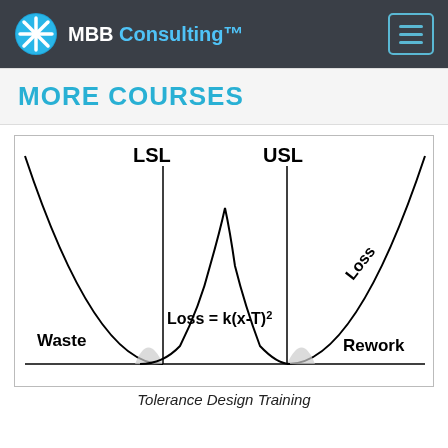MBB Consulting™
MORE COURSES
[Figure (continuous-plot): Taguchi loss function diagram showing two U-shaped parabolic curves representing waste on the left and rework on the right, with a normal bell curve in the center. LSL and USL vertical lines mark the specification limits. Shaded areas under the tails represent out-of-spec regions. Labels: LSL, USL, Waste, Rework, Loss (diagonal on right curve). Formula shown: Loss = k(x-T)²]
Tolerance Design Training